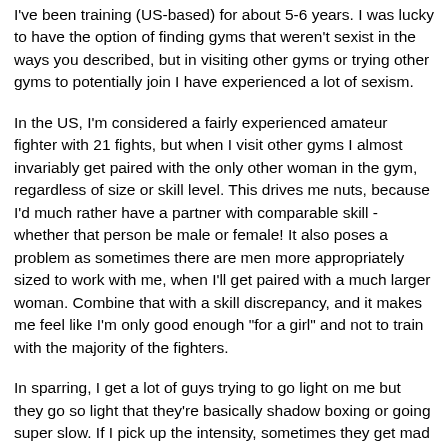I've been training (US-based) for about 5-6 years. I was lucky to have the option of finding gyms that weren't sexist in the ways you described, but in visiting other gyms or trying other gyms to potentially join I have experienced a lot of sexism.
In the US, I'm considered a fairly experienced amateur fighter with 21 fights, but when I visit other gyms I almost invariably get paired with the only other woman in the gym, regardless of size or skill level. This drives me nuts, because I'd much rather have a partner with comparable skill - whether that person be male or female! It also poses a problem as sometimes there are men more appropriately sized to work with me, when I'll get paired with a much larger woman. Combine that with a skill discrepancy, and it makes me feel like I'm only good enough "for a girl" and not to train with the majority of the fighters.
In sparring, I get a lot of guys trying to go light on me but they go so light that they're basically shadow boxing or going super slow. If I pick up the intensity, sometimes they get mad and try to hurt me. Neither is beneficial. I also get a lot of those guys that just shell-up and say "hit me, hit me!" and (maybe this is just me) I find this